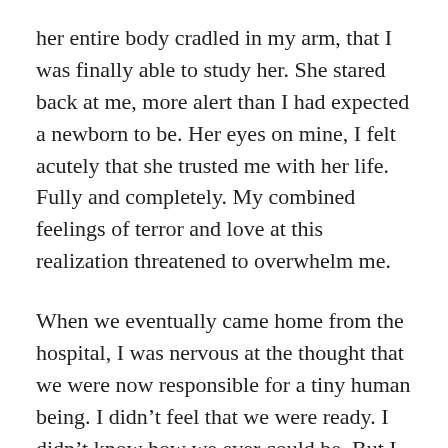her entire body cradled in my arm, that I was finally able to study her. She stared back at me, more alert than I had expected a newborn to be. Her eyes on mine, I felt acutely that she trusted me with her life. Fully and completely. My combined feelings of terror and love at this realization threatened to overwhelm me.
When we eventually came home from the hospital, I was nervous at the thought that we were now responsible for a tiny human being. I didn't feel that we were ready. I didn't know how we ever could be. But I was also relieved that we would have more time to ourselves as a family, without nurses and photographers and visitors and cleaning staff barging into our room every hour or so. Besides, Michael had two weeks of paternity leave, and my mother had